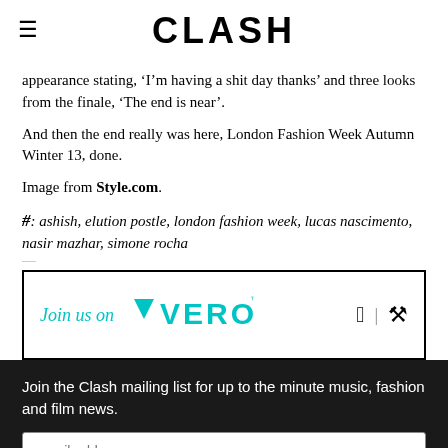CLASH
appearance stating, ‘I’m having a shit day thanks’ and three looks from the finale, ‘The end is near’.
And then the end really was here, London Fashion Week Autumn Winter 13, done.
Image from Style.com.
#: ashish, elution postle, london fashion week, lucas nascimento, nasir mazhar, simone rocha
[Figure (logo): Vero app advertisement banner with text 'Join us on VERO' and Apple and Android app icons]
Join the Clash mailing list for up to the minute music, fashion and film news.